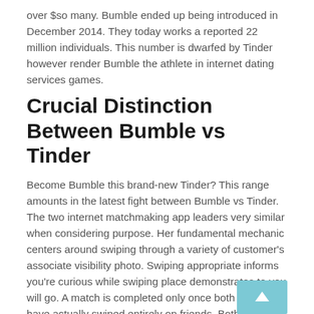over $so many. Bumble ended up being introduced in December 2014. They today works a reported 22 million individuals. This number is dwarfed by Tinder however render Bumble the athlete in internet dating services games.
Crucial Distinction Between Bumble vs Tinder
Become Bumble this brand-new Tinder? This range amounts in the latest fight between Bumble vs Tinder. The two internet matchmaking app leaders very similar when considering purpose. Her fundamental mechanic centers around swiping through a variety of customer's associate visibility photo. Swiping appropriate informs you're curious while swiping place demonstrates to you will go. A match is completed only once both holders have actually swiped entirely on friends. Both is suggested and taking into consideration the possibility to speak to oneself.
Lower seem the most important difference in both of them. On Bumble...